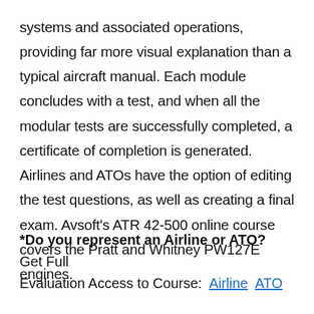systems and associated operations, providing far more visual explanation than a typical aircraft manual. Each module concludes with a test, and when all the modular tests are successfully completed, a certificate of completion is generated. Airlines and ATOs have the option of editing the test questions, as well as creating a final exam. Avsoft's ATR 42-500 online course covers the Pratt and Whitney PW127E engines.
*Do you represent an Airline or ATO? Get Full Evaluation Access to Course: Airline ATO